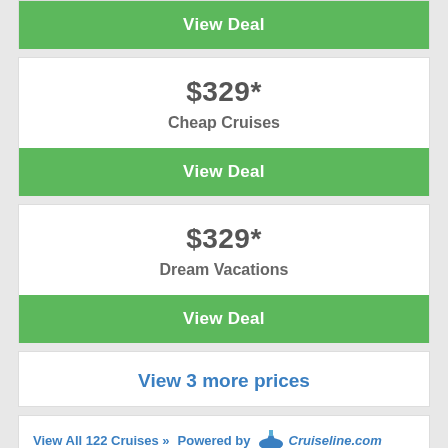View Deal
$329*
Cheap Cruises
View Deal
$329*
Dream Vacations
View Deal
View 3 more prices
View All 122 Cruises » Powered by Cruiseline.com